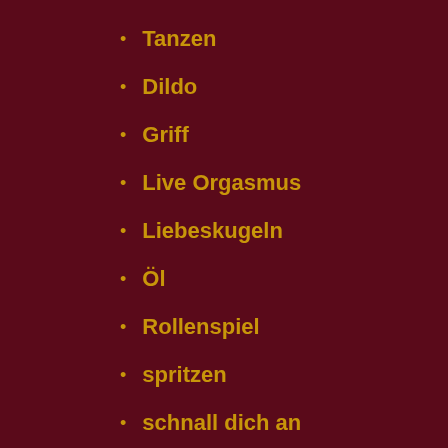Tanzen
Dildo
Griff
Live Orgasmus
Liebeskugeln
Öl
Rollenspiel
spritzen
schnall dich an